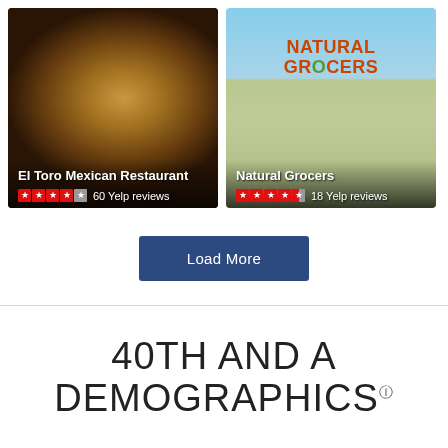[Figure (photo): Photo of a Mexican food plate (enchiladas with rice) with text overlay showing El Toro Mexican Restaurant name and 4-star Yelp rating with 60 reviews]
[Figure (photo): Photo of Natural Grocers store exterior sign with text overlay showing Natural Grocers name and 4.5-star Yelp rating with 18 reviews]
Load More
40TH AND A DEMOGRAPHICS ℹ